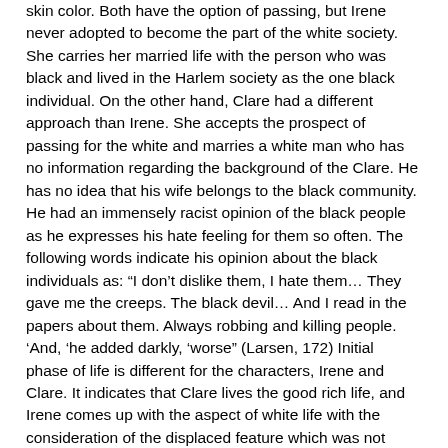skin color. Both have the option of passing, but Irene never adopted to become the part of the white society. She carries her married life with the person who was black and lived in the Harlem society as the one black individual. On the other hand, Clare had a different approach than Irene. She accepts the prospect of passing for the white and marries a white man who has no information regarding the background of the Clare. He has no idea that his wife belongs to the black community. He had an immensely racist opinion of the black people as he expresses his hate feeling for them so often. The following words indicate his opinion about the black individuals as: “I don’t dislike them, I hate them… They gave me the creeps. The black devil… And I read in the papers about them. Always robbing and killing people. ‘And, ‘he added darkly, ‘worse” (Larsen, 172) Initial phase of life is different for the characters, Irene and Clare. It indicates that Clare lives the good rich life, and Irene comes up with the aspect of white life with the consideration of the displaced feature which was not desirable to the great extent. The overall scenario gets transform at that particular moment when Irene and Clare meet